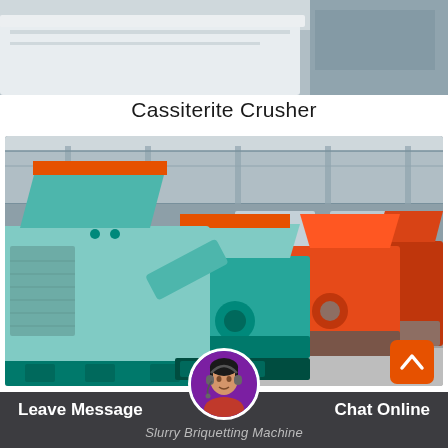[Figure (photo): Top portion of white industrial machine, partially cropped]
Cassiterite Crusher
[Figure (photo): Industrial warehouse scene showing multiple briquetting/crushing machines: large teal/mint-colored machine in foreground with orange-topped hopper, additional teal and orange machines in background, inside a large industrial building]
[Figure (photo): Customer service avatar: woman with headset]
Leave Message   Slurry Briquetting Machine   Chat Online